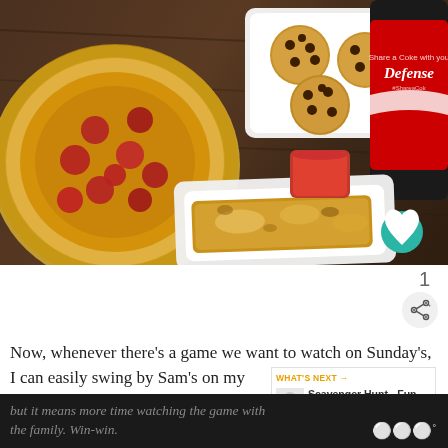[Figure (photo): Food spread on a wooden table showing a large pepperoni pizza, a plate of chocolate chip cookies, a Coca-Cola bottle with 'Defense' label, a plate of breadsticks with dipping sauce.]
Now, whenever there's a game we want to watch on Sunday's, I can easily swing by Sam's [Club] on my way home from work and pick up a combo. That way, not only do I get to skip making dinner, but it means more time watching the game with the family. Win-win.